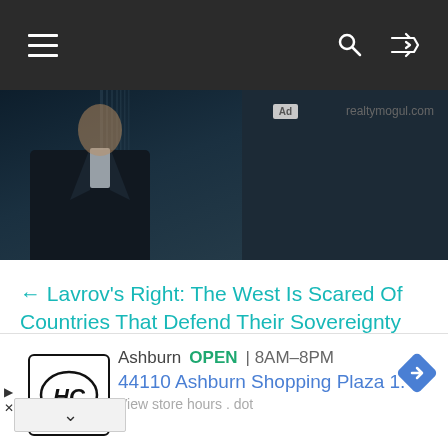Navigation bar with hamburger menu, search icon, shuffle icon
[Figure (photo): Partial view of a person in a dark suit with a tall building in the background. Ad label showing 'Ad realtymogul.com' on the right side.]
← Lavrov's Right: The West Is Scared Of Countries That Defend Their Sovereignty
Exclusive Interview with Ashish Agarwal, Co-founder, Lepasa Metaverse →
[Figure (infographic): Bottom advertisement showing HC logo, Ashburn OPEN 8AM-8PM, 44110 Ashburn Shopping Plaza 1., navigation arrow icon, and View store hours.]